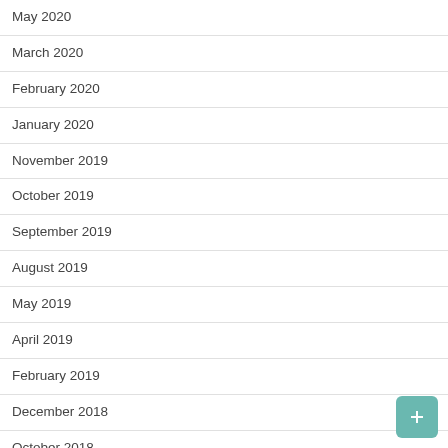May 2020
March 2020
February 2020
January 2020
November 2019
October 2019
September 2019
August 2019
May 2019
April 2019
February 2019
December 2018
October 2018
August 2018
June 2018